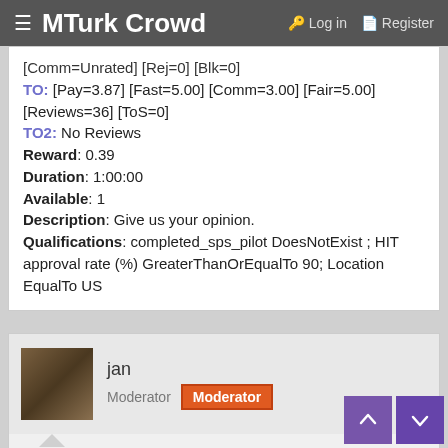MTurk Crowd  Log in  Register
[Comm=Unrated] [Rej=0] [Blk=0]
TO: [Pay=3.87] [Fast=5.00] [Comm=3.00] [Fair=5.00] [Reviews=36] [ToS=0]
TO2: No Reviews
Reward: 0.39
Duration: 1:00:00
Available: 1
Description: Give us your opinion.
Qualifications: completed_sps_pilot DoesNotExist ; HIT approval rate (%) GreaterThanOrEqualTo 90; Location EqualTo US
jan
Moderator  Moderator
May 1, 2020
#14
Title: Effects of COVID-19 on Public Interest in Medical Aesthetics | Accept